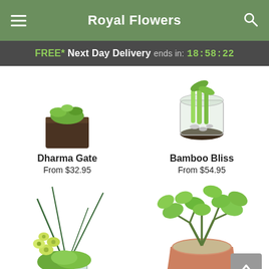Royal Flowers
FREE* Next Day Delivery ends in: 18:58:22
[Figure (photo): Dharma Gate succulent plant in a dark wooden cube pot]
Dharma Gate
From $32.95
[Figure (photo): Bamboo Bliss plant in a glass cylinder with black base and pebbles]
Bamboo Bliss
From $54.95
[Figure (photo): Green orchid and succulent floral arrangement in a clear glass vase with decorative sticks]
[Figure (photo): Large jade plant (Crassula) in a terracotta pot]